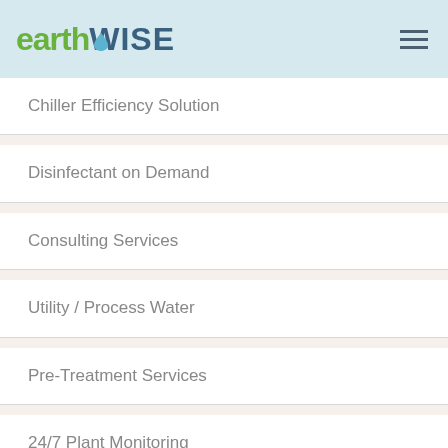earthWISE
Chiller Efficiency Solution
Disinfectant on Demand
Consulting Services
Utility / Process Water
Pre-Treatment Services
24/7 Plant Monitoring
Eliminate Hazardous Liquids
Mechanical Construction & Retrofit